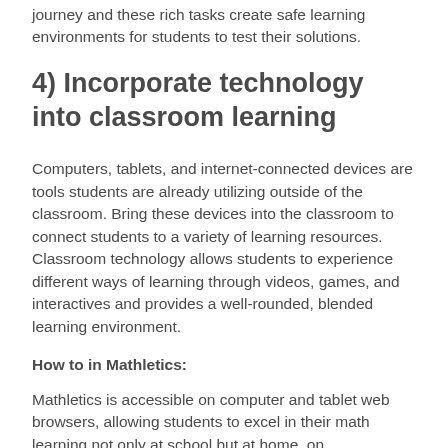journey and these rich tasks create safe learning environments for students to test their solutions.
4) Incorporate technology into classroom learning
Computers, tablets, and internet-connected devices are tools students are already utilizing outside of the classroom. Bring these devices into the classroom to connect students to a variety of learning resources. Classroom technology allows students to experience different ways of learning through videos, games, and interactives and provides a well-rounded, blended learning environment.
How to in Mathletics:
Mathletics is accessible on computer and tablet web browsers, allowing students to excel in their math learning not only at school but at home, on